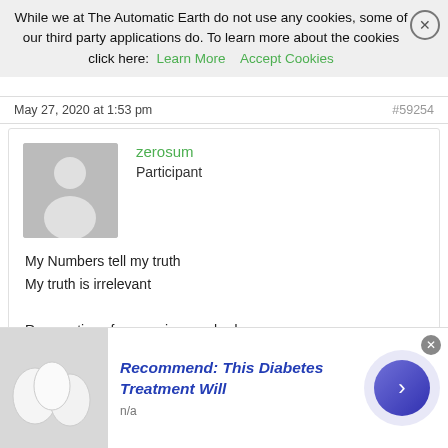Reality are my thoughts. My thoughts are reality.
While we at The Automatic Earth do not use any cookies, some of our third party applications do. To learn more about the cookies click here: Learn More  Accept Cookies
May 27, 2020 at 1:53 pm	#59254
zerosum
Participant
My Numbers tell my truth
My truth is irrelevant

Reservations for camping crashed
Mosquitoes are waiting for the banquet
May 27, 2020 at 3:05 pm	#59256
Geppetto
Recommend: This Diabetes Treatment Will
n/a